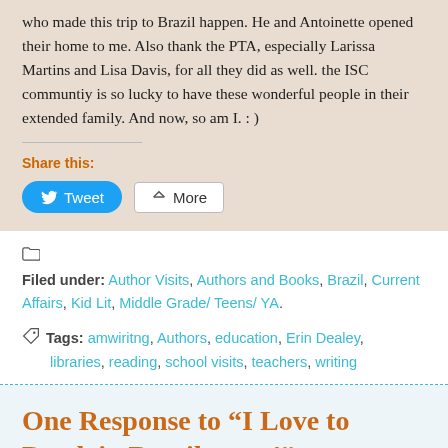who made this trip to Brazil happen. He and Antoinette opened their home to me. Also thank the PTA, especially Larissa Martins and Lisa Davis, for all they did as well. the ISC communtiy is so lucky to have these wonderful people in their extended family. And now, so am I. : )
Share this:
Filed under: Author Visits, Authors and Books, Brazil, Current Affairs, Kid Lit, Middle Grade/ Teens/ YA.
Tags: amwiritng, Authors, education, Erin Dealey, libraries, reading, school visits, teachers, writing
One Response to “I Love to Read–in Brazil, part4”